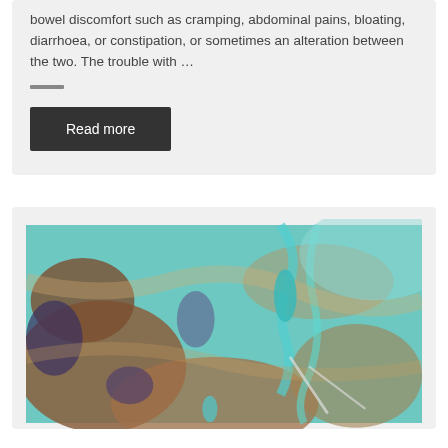bowel discomfort such as cramping, abdominal pains, bloating, diarrhoea, or constipation, or sometimes an alteration between the two. The trouble with …
Read more
[Figure (photo): Satellite aerial photograph showing a landscape with teal/turquoise and brown/rust colored terrain, likely a coastal or wetland area viewed from above.]